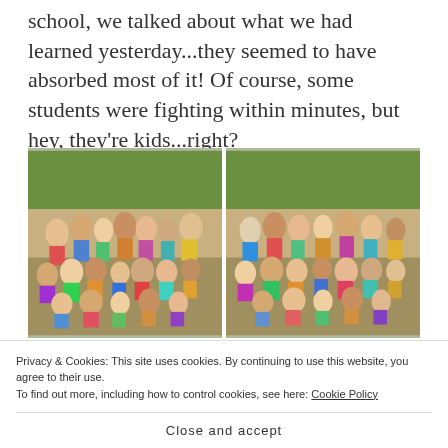school, we talked about what we had learned yesterday...they seemed to have absorbed most of it! Of course, some students were fighting within minutes, but hey, they're kids...right?
[Figure (photo): Two side-by-side group photos of schoolchildren outdoors, sitting and standing together in a garden/school yard setting.]
Advertisements
[Figure (screenshot): Advertisement banner with gradient blue-purple background showing text 'Simplified pricing for']
Privacy & Cookies: This site uses cookies. By continuing to use this website, you agree to their use. To find out more, including how to control cookies, see here: Cookie Policy
Close and accept